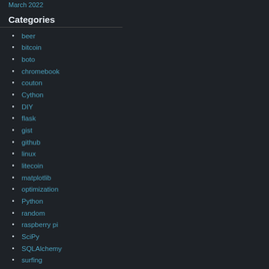March 2022
Categories
beer
bitcoin
boto
chromebook
couton
Cython
DIY
flask
gist
github
linux
litecoin
matplotlib
optimization
Python
random
raspberry pi
SciPy
SQLAlchemy
surfing
thin client
Uncategorized
web-dev